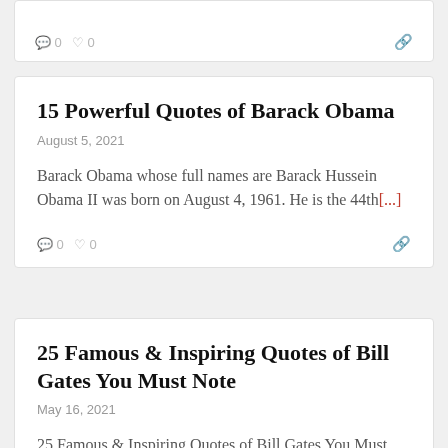0  0
15 Powerful Quotes of Barack Obama
August 5, 2021
Barack Obama whose full names are Barack Hussein Obama II was born on August 4, 1961. He is the 44th[...]
0  0
25 Famous & Inspiring Quotes of Bill Gates You Must Note
May 16, 2021
25 Famous & Inspiring Quotes of Bill Gates You Must